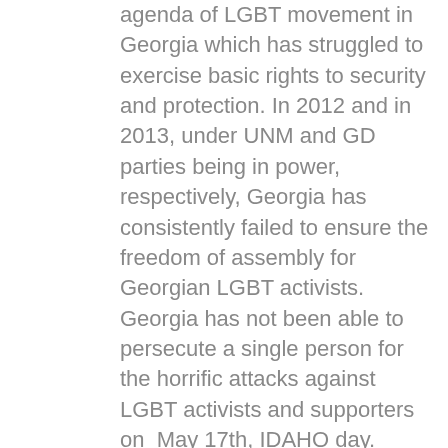agenda of LGBT movement in Georgia which has struggled to exercise basic rights to security and protection. In 2012 and in 2013, under UNM and GD parties being in power, respectively, Georgia has consistently failed to ensure the freedom of assembly for Georgian LGBT activists. Georgia has not been able to persecute a single person for the horrific attacks against LGBT activists and supporters on  May 17th, IDAHO day. Therefore, constitutionally banning the prospect of marriage equality, already banned by Georgia's Civil Code, can only be seen as a homophobic move. It further deteriorates already feeble state of LGBT human rights in Georgia. If the amendment is successfully initiated, it will directly violate universal equality of single parents, LGBT community and many others who do not live nuclear families. Alarmingly, this homophobic and cynical move ultimately kills the very spirit of equality protection of incoming Anti-Discrimination Law. Identoba, Georgia's largest LGBT and gender equality protection NGO calls on all parties to speak up against proposed